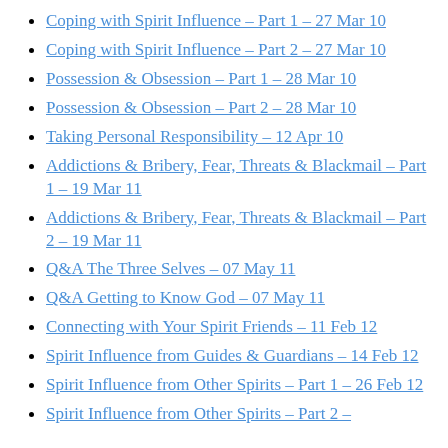Coping with Spirit Influence – Part 1 – 27 Mar 10
Coping with Spirit Influence – Part 2 – 27 Mar 10
Possession & Obsession – Part 1 – 28 Mar 10
Possession & Obsession – Part 2 – 28 Mar 10
Taking Personal Responsibility – 12 Apr 10
Addictions & Bribery, Fear, Threats & Blackmail – Part 1 – 19 Mar 11
Addictions & Bribery, Fear, Threats & Blackmail – Part 2 – 19 Mar 11
Q&A The Three Selves – 07 May 11
Q&A Getting to Know God – 07 May 11
Connecting with Your Spirit Friends – 11 Feb 12
Spirit Influence from Guides & Guardians – 14 Feb 12
Spirit Influence from Other Spirits – Part 1 – 26 Feb 12
Spirit Influence from Other Spirits – Part 2 – (cut off)